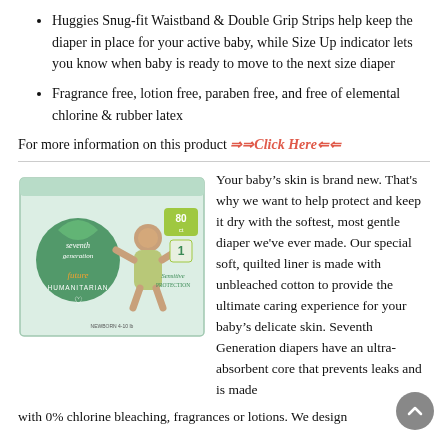Huggies Snug-fit Waistband & Double Grip Strips help keep the diaper in place for your active baby, while Size Up indicator lets you know when baby is ready to move to the next size diaper
Fragrance free, lotion free, paraben free, and free of elemental chlorine & rubber latex
For more information on this product ⇒⇒Click Here⇐⇐
[Figure (photo): Seventh Generation Future Humanitarian diaper box, size 1, 80 count, Sensitive Protection, featuring a baby on the box]
Your baby’s skin is brand new. That's why we want to help protect and keep it dry with the softest, most gentle diaper we've ever made. Our special soft, quilted liner is made with unbleached cotton to provide the ultimate caring experience for your baby’s delicate skin. Seventh Generation diapers have an ultra-absorbent core that prevents leaks and is made with 0% chlorine bleaching, fragrances or lotions. We design